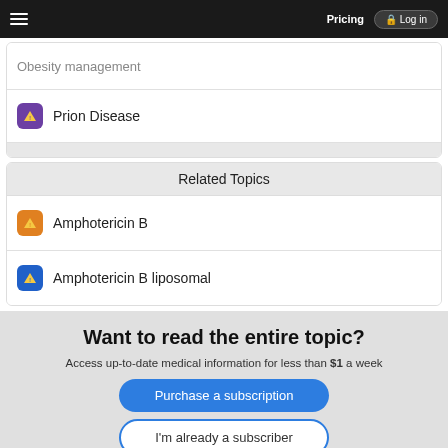Pricing | Log in
Obesity management
Prion Disease
Related Topics
Amphotericin B
Amphotericin B liposomal
Want to read the entire topic?
Access up-to-date medical information for less than $1 a week
Purchase a subscription
I'm already a subscriber
Browse sample topics